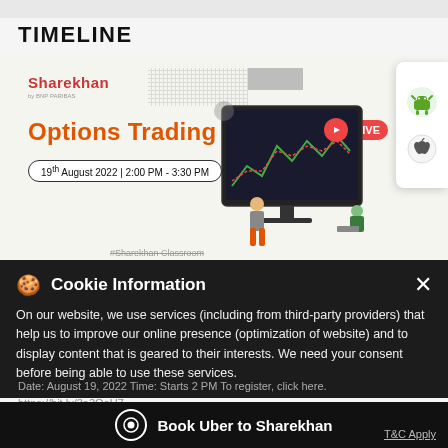TIMELINE
[Figure (screenshot): Sharekhan Options Trading webinar banner: logo top left, dotted and gray rectangles, 'Options Trading' in orange bold text, date pill '19th August 2022 | 2:00 PM - 3:30 PM', live badge, trading chart illustration with person presenting, Android and Apple app icons on right card]
#Sharekhan Classroom
Cookie Information
On our website, we use services (including from third-party providers) that help us to improve our online presence (optimization of website) and to display content that is geared to their interests. We need your consent before being able to use these services.
Date: August 19, 2022 Time: Starts 2 PM To register, click here.
https://bit.ly/3a3QeU7
Book Uber to Sharekhan
T&C Apply